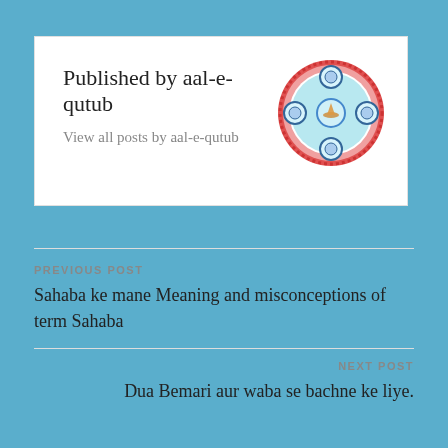Published by aal-e-qutub
View all posts by aal-e-qutub
[Figure (logo): Circular emblem/logo with red border, blue floral pattern, and central motif on white background]
PREVIOUS POST
Sahaba ke mane Meaning and misconceptions of term Sahaba
NEXT POST
Dua Bemari aur waba se bachne ke liye.